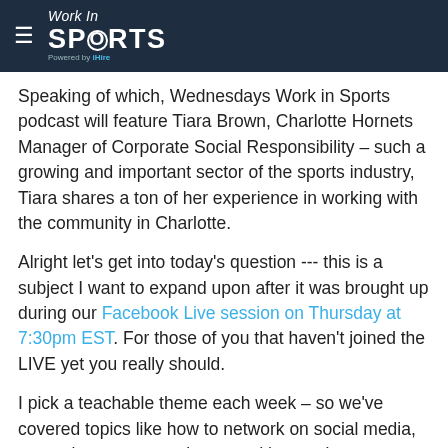Work In SPORTS — Powered by iHire
Speaking of which, Wednesdays Work in Sports podcast will feature Tiara Brown, Charlotte Hornets Manager of Corporate Social Responsibility – such a growing and important sector of the sports industry, Tiara shares a ton of her experience in working with the community in Charlotte.
Alright let's get into today's question --- this is a subject I want to expand upon after it was brought up during our Facebook Live session on Thursday at 7:30pm EST. For those of you that haven't joined the LIVE yet you really should.
I pick a teachable theme each week – so we've covered topics like how to network on social media, mastering your cover letter, and leveraging LinkedIn… I talk about that subject in a very actionable way for the first 20-30 minutes… then I open up the floor to everyone in